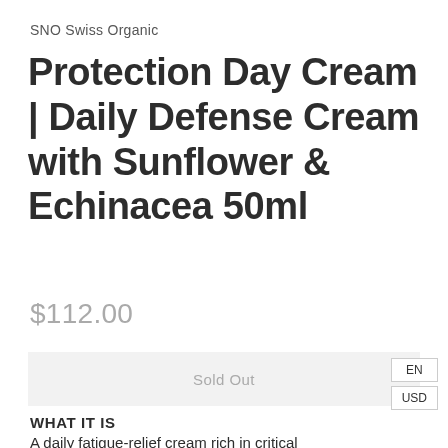SNO Swiss Organic
Protection Day Cream | Daily Defense Cream with Sunflower & Echinacea 50ml
$112.00
Sold Out
EN
USD
WHAT IT IS
A daily fatigue-relief cream rich in critical antioxidants and high-performance technologies